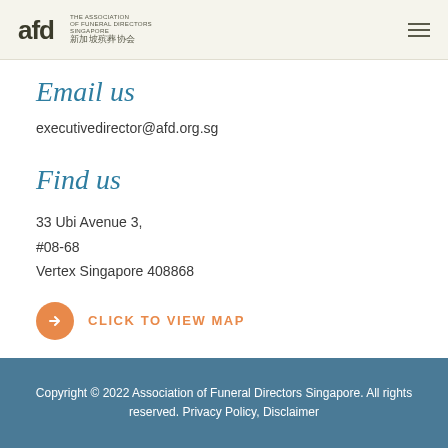AFD The Association of Funeral Directors Singapore 新加坡殡葬协会
Email us
executivedirector@afd.org.sg
Find us
33 Ubi Avenue 3,
#08-68
Vertex Singapore 408868
CLICK TO VIEW MAP
Copyright © 2022 Association of Funeral Directors Singapore. All rights reserved. Privacy Policy, Disclaimer